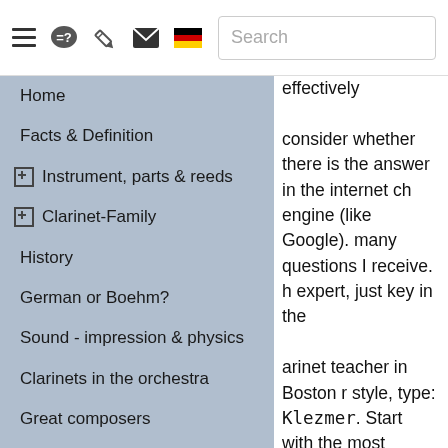Navigation header with icons: hamburger menu, chat/help bubble, pencil/edit, envelope/email, German flag, Search box
Home
Facts & Definition
Instrument, parts & reeds
Clarinet-Family
History
German or Boehm?
Sound - impression & physics
Clarinets in the orchestra
Great composers
Popular players
Music for clarinet
How to learn
How to play
How to fix
effectively

consider whether there is the answer in the internet ch engine (like Google).
many questions I receive.
h expert, just key in the

arinet teacher in Boston r style, type: Klezmer
. Start with the most
eneral. If you started with d a lot of commercial ads clarinets in the first lines